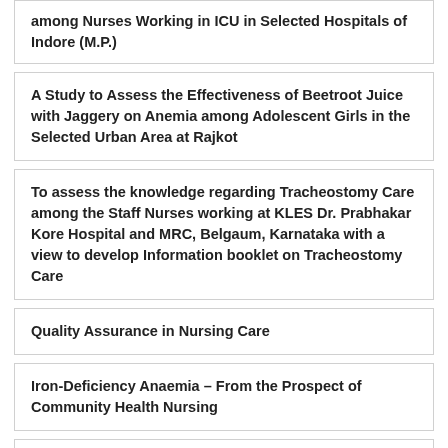among Nurses Working in ICU in Selected Hospitals of Indore (M.P.)
A Study to Assess the Effectiveness of Beetroot Juice with Jaggery on Anemia among Adolescent Girls in the Selected Urban Area at Rajkot
To assess the knowledge regarding Tracheostomy Care among the Staff Nurses working at KLES Dr. Prabhakar Kore Hospital and MRC, Belgaum, Karnataka with a view to develop Information booklet on Tracheostomy Care
Quality Assurance in Nursing Care
Iron-Deficiency Anaemia – From the Prospect of Community Health Nursing
A Pre-Experimental Study to assess the Effectiveness of Demonstration Method and Structure Teaching